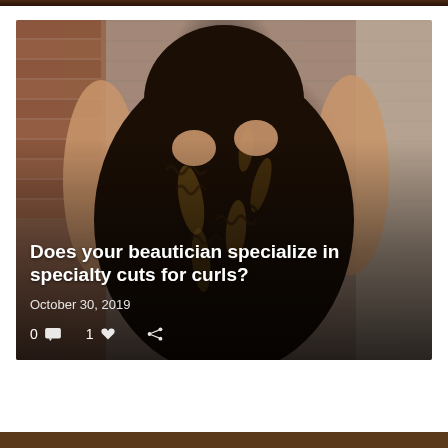[Figure (photo): Person with long curly dark hair with golden highlights, photographed from behind, arms raised, standing against a brick wall background]
Does your beautician specialize in specialty cuts for curls?
October 30, 2019
0 [comment icon]  1 [heart icon]  [share icon]